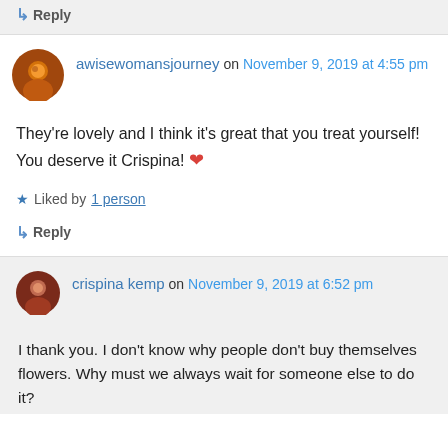↳ Reply
awisewomansjourney on November 9, 2019 at 4:55 pm
They're lovely and I think it's great that you treat yourself! You deserve it Crispina! ❤
Liked by 1 person
↳ Reply
crispina kemp on November 9, 2019 at 6:52 pm
I thank you. I don't know why people don't buy themselves flowers. Why must we always wait for someone else to do it?